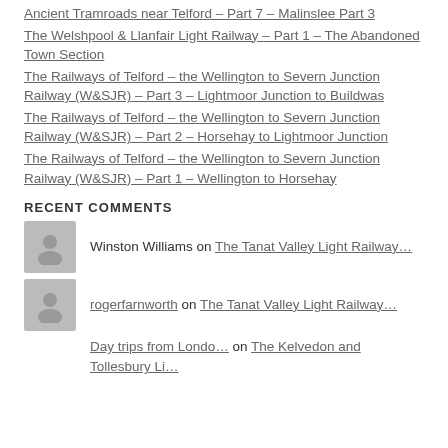Ancient Tramroads near Telford – Part 7 – Malinslee Part 3
The Welshpool & Llanfair Light Railway – Part 1 – The Abandoned Town Section
The Railways of Telford – the Wellington to Severn Junction Railway (W&SJR) – Part 3 – Lightmoor Junction to Buildwas
The Railways of Telford – the Wellington to Severn Junction Railway (W&SJR) – Part 2 – Horsehay to Lightmoor Junction
The Railways of Telford – the Wellington to Severn Junction Railway (W&SJR) – Part 1 – Wellington to Horsehay
RECENT COMMENTS
Winston Williams on The Tanat Valley Light Railway…
rogerfarnworth on The Tanat Valley Light Railway…
Day trips from Londo… on The Kelvedon and Tollesbury Li…